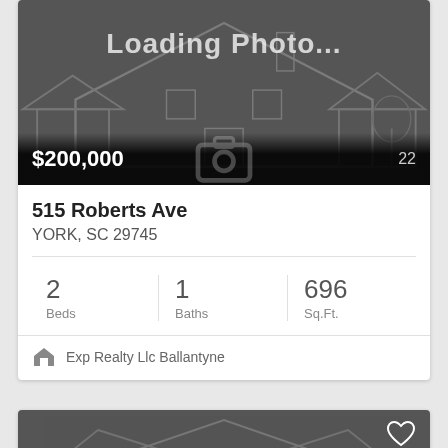[Figure (photo): Loading Photo placeholder with house outline graphic, dark gray background]
$200,000
22 📷
515 Roberts Ave
YORK, SC 29745
2 Beds
1 Baths
696 Sq.Ft.
Exp Realty Llc Ballantyne
[Figure (photo): Second listing card, partial view, dark gray loading placeholder with house outline]